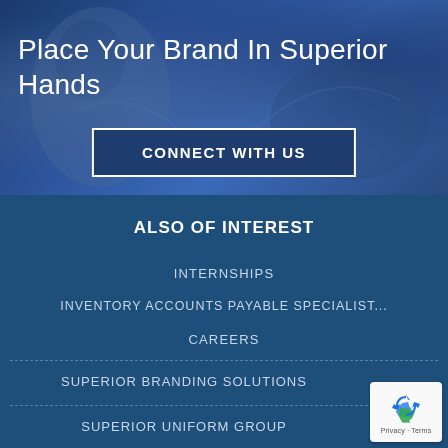[Figure (photo): Dark blue background with blurred person/hands imagery forming a hero banner]
Place Your Brand In Superior Hands
CONNECT WITH US
ALSO OF INTEREST
INTERNSHIPS
INVENTORY ACCOUNTS PAYABLE SPECIALIST...
CAREERS
SUPERIOR BRANDING SOLUTIONS
SUPERIOR UNIFORM GROUP
[Figure (logo): reCAPTCHA badge with recycling-arrows icon and Privacy - Terms text]